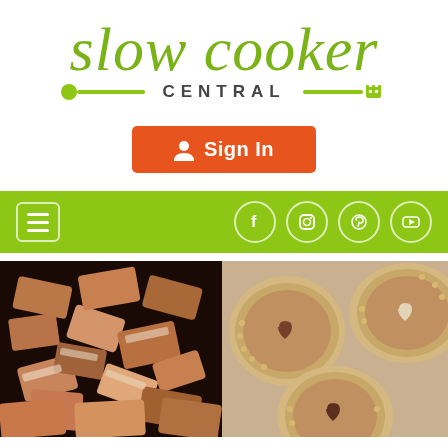slow cooker CENTRAL
[Figure (logo): Slow Cooker Central website logo with green cursive 'slow cooker' text above 'CENTRAL' in bold grey letters, flanked by green spoon and fork icons]
[Figure (screenshot): Orange 'Sign In' button with user/person icon]
[Figure (screenshot): Green navigation bar with hamburger menu icon on left and Facebook, Instagram, Pinterest, YouTube social media icons on right]
[Figure (photo): Photo of chocolate and white fudge pieces on dark background]
[Figure (photo): Photo of small chocolate pie tarts in ramekins with heart-shaped chocolate decorations, viewed from above]